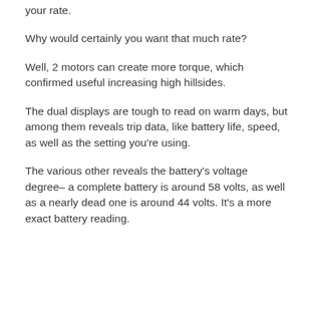your rate.
Why would certainly you want that much rate?
Well, 2 motors can create more torque, which confirmed useful increasing high hillsides.
The dual displays are tough to read on warm days, but among them reveals trip data, like battery life, speed, as well as the setting you're using.
The various other reveals the battery's voltage degree– a complete battery is around 58 volts, as well as a nearly dead one is around 44 volts. It's a more exact battery reading.